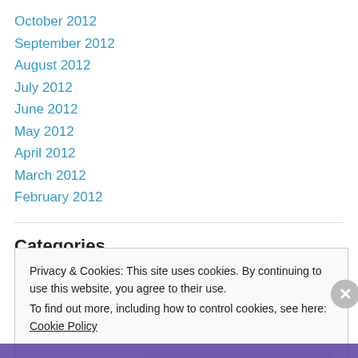October 2012
September 2012
August 2012
July 2012
June 2012
May 2012
April 2012
March 2012
February 2012
Categories
Privacy & Cookies: This site uses cookies. By continuing to use this website, you agree to their use.
To find out more, including how to control cookies, see here: Cookie Policy
Close and accept